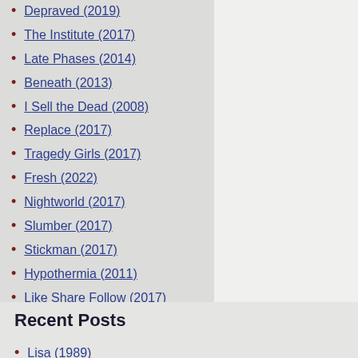Depraved (2019)
The Institute (2017)
Late Phases (2014)
Beneath (2013)
I Sell the Dead (2008)
Replace (2017)
Tragedy Girls (2017)
Fresh (2022)
Nightworld (2017)
Slumber (2017)
Stickman (2017)
Hypothermia (2011)
Like Share Follow (2017)
Happy Hunting (2017)
Downrange (2017)
Recent Posts
Lisa (1989)